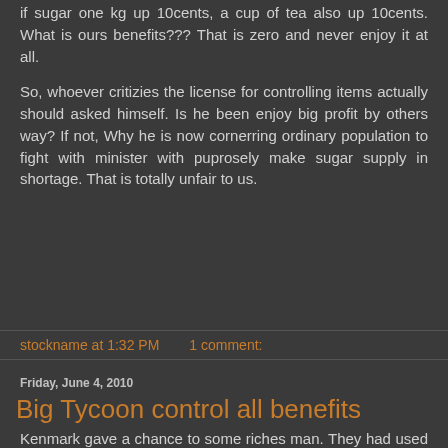if sugar one kg up 10cents, a cup of tea also up 10cents. What is ours benefits??? That is zero and never enjoy it at all.
So, whoever critizies the license for controlling items actually should asked himself. Is he been enjoy big profit by others way? If not, Why he is now cornerring ordinary population to fight with minister with puprosely make sugar supply in shortage. That is totally unfair to us.
stockname at 1:32 PM    1 comment:
Friday, June 4, 2010
Big Tycoon control all benefits
Kenmark gave a chance to some riches man. They had used this opportunity to corner the shares and make a big gain on